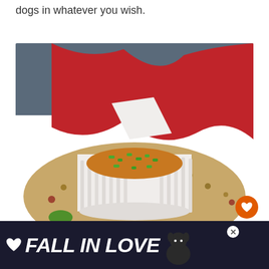dogs in whatever you wish.
[Figure (photo): A white ramekin filled with golden-orange sauce topped with chopped green onions, sitting in the center of a cheese ball coated with nuts and toppings, with a red cloth in the background.]
[Figure (infographic): Advertisement banner reading FALL IN LOVE with a dog graphic and heart icon, on a dark navy background. Also shows a small overlay for What's Next: Lit'l Smokies wreath.]